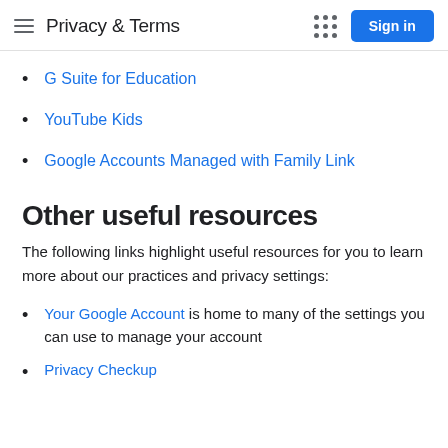Privacy & Terms
G Suite for Education
YouTube Kids
Google Accounts Managed with Family Link
Other useful resources
The following links highlight useful resources for you to learn more about our practices and privacy settings:
Your Google Account is home to many of the settings you can use to manage your account
Privacy Checkup